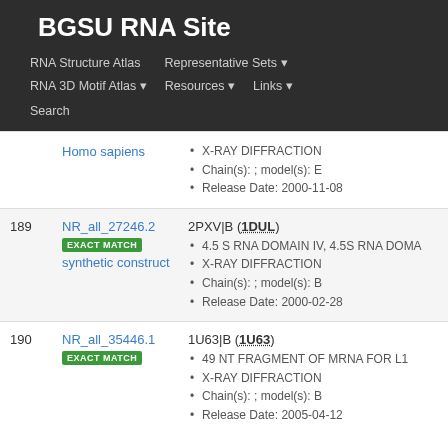BGSU RNA Site
RNA Structure Atlas  Representative Sets  RNA 3D Motif Atlas  Resources  Links  Search
| # | ID | Details |
| --- | --- | --- |
|  | Homo sapiens | X-RAY DIFFRACTION
Chain(s): ; model(s): E
Release Date: 2000-11-08 |
| 189 | NR_all_27246.2
EXACT MATCH
synthetic construct | 2PXV|B (1DUL)
4.5 S RNA DOMAIN IV, 4.5S RNA DOMA...
X-RAY DIFFRACTION
Chain(s): ; model(s): B
Release Date: 2000-02-28 |
| 190 | NR_all_35446.1
EXACT MATCH | 1U63|B (1U63)
49 NT FRAGMENT OF MRNA FOR L1
X-RAY DIFFRACTION
Chain(s): ; model(s): B
Release Date: 2005-04-12 |